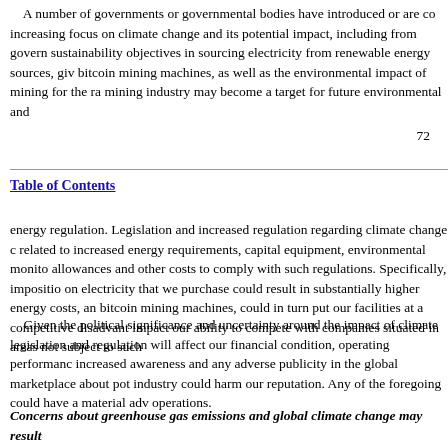A number of governments or governmental bodies have introduced or are co increasing focus on climate change and its potential impact, including from govern sustainability objectives in sourcing electricity from renewable energy sources, giv bitcoin mining machines, as well as the environmental impact of mining for the ra mining industry may become a target for future environmental and
72
Table of Contents
energy regulation. Legislation and increased regulation regarding climate change c related to increased energy requirements, capital equipment, environmental monito allowances and other costs to comply with such regulations. Specifically, impositio on electricity that we purchase could result in substantially higher energy costs, an bitcoin mining machines, could in turn put our facilities at a competitive disadvant impact our ability to compete with companies situated in areas not subject to such
Given the political significance and uncertainty around the impact of climate legislation and regulation will affect our financial condition, operating performanc increased awareness and any adverse publicity in the global marketplace about pot industry could harm our reputation. Any of the foregoing could have a material adv operations.
Concerns about greenhouse gas emissions and global climate change may result could have a material adverse effect on our business, financial condition and res